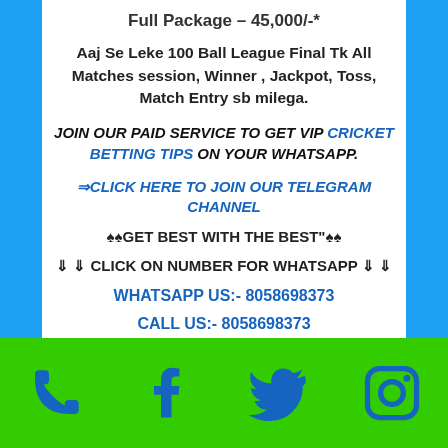Full Package – 45,000/-*
Aaj Se Leke 100 Ball League Final Tk All Matches session, Winner , Jackpot, Toss, Match Entry sb milega.
JOIN OUR PAID SERVICE TO GET VIP CRICKET BETTING TIPS ON YOUR WHATSAPP.
⇒CLICK HERE TO JOIN OUR TELEGRAM CHANNEL
♠♠GET BEST WITH THE BEST"♠♠
⇓ ⇓ CLICK ON NUMBER FOR WHATSAPP ⇓ ⇓
WHATSAPP US:- 8058698373
CALL US:- 8058698373
[Figure (infographic): Footer bar with social media icons: phone, Facebook, Twitter, Instagram on green background]